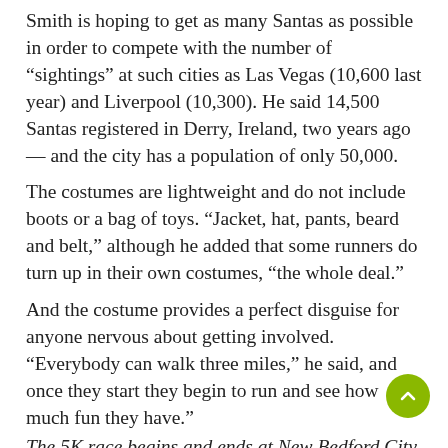Smith is hoping to get as many Santas as possible in order to compete with the number of “sightings” at such cities as Las Vegas (10,600 last year) and Liverpool (10,300). He said 14,500 Santas registered in Derry, Ireland, two years ago — and the city has a population of only 50,000.
The costumes are lightweight and do not include boots or a bag of toys. “Jacket, hat, pants, beard and belt,” although he added that some runners do turn up in their own costumes, “the whole deal.”
And the costume provides a perfect disguise for anyone nervous about getting involved. “Everybody can walk three miles,” he said, and once they start they begin to run and see how much fun they have.”
The 5K race begins and ends at New Bedford City Hall, 133 William St. Registration will be at the South Coast YMCA at 25 South Water St., New Bedford, Saturday Dec. 13, from 5 to 8 p.m., and on race day from 7 to 10